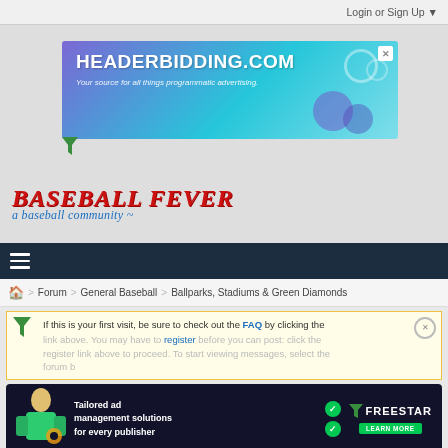Login or Sign Up ▼
[Figure (screenshot): HEADERBIDDING.COM advertisement banner - blue/teal gradient with text 'Your source for all things programmatic advertising.']
[Figure (logo): Baseball Fever - a baseball community logo in red and blue]
[Figure (screenshot): Dark navigation bar with hamburger menu icon]
Forum > General Baseball > Ballparks, Stadiums & Green Diamonds
If this is your first visit, be sure to check out the FAQ by clicking the link above. You may have to register before you can post: click the register link above to proceed. To start viewing messages, select the forum b
[Figure (screenshot): Freestar advertisement - Tailored ad management solutions for every publisher]
Citi Field Tickets & Concessions